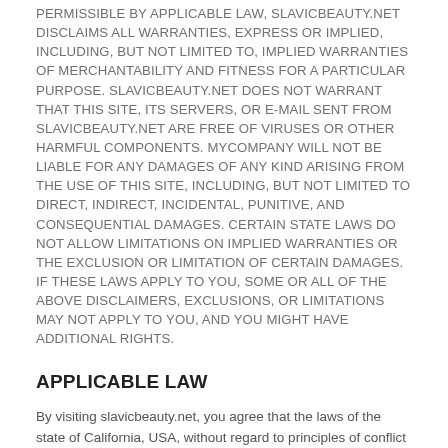PERMISSIBLE BY APPLICABLE LAW, SLAVICBEAUTY.NET DISCLAIMS ALL WARRANTIES, EXPRESS OR IMPLIED, INCLUDING, BUT NOT LIMITED TO, IMPLIED WARRANTIES OF MERCHANTABILITY AND FITNESS FOR A PARTICULAR PURPOSE. SLAVICBEAUTY.NET DOES NOT WARRANT THAT THIS SITE, ITS SERVERS, OR E-MAIL SENT FROM SLAVICBEAUTY.NET ARE FREE OF VIRUSES OR OTHER HARMFUL COMPONENTS. MYCOMPANY WILL NOT BE LIABLE FOR ANY DAMAGES OF ANY KIND ARISING FROM THE USE OF THIS SITE, INCLUDING, BUT NOT LIMITED TO DIRECT, INDIRECT, INCIDENTAL, PUNITIVE, AND CONSEQUENTIAL DAMAGES. CERTAIN STATE LAWS DO NOT ALLOW LIMITATIONS ON IMPLIED WARRANTIES OR THE EXCLUSION OR LIMITATION OF CERTAIN DAMAGES. IF THESE LAWS APPLY TO YOU, SOME OR ALL OF THE ABOVE DISCLAIMERS, EXCLUSIONS, OR LIMITATIONS MAY NOT APPLY TO YOU, AND YOU MIGHT HAVE ADDITIONAL RIGHTS.
APPLICABLE LAW
By visiting slavicbeauty.net, you agree that the laws of the state of California, USA, without regard to principles of conflict